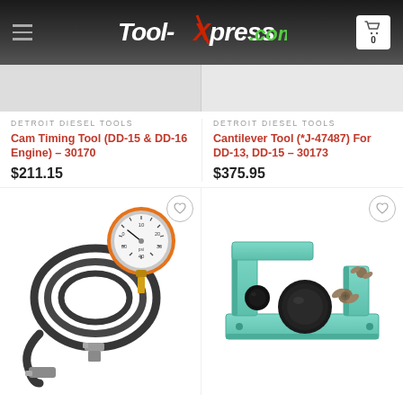Tool-Xpress.com
DETROIT DIESEL TOOLS
Cam Timing Tool (DD-15 & DD-16 Engine) – 30170
$211.15
DETROIT DIESEL TOOLS
Cantilever Tool (*J-47487) For DD-13, DD-15 – 30173
$375.95
[Figure (photo): Pressure gauge with orange rim and black hose with fittings]
[Figure (photo): Teal/mint colored cantilever tool bracket with black knobs and wing nuts]